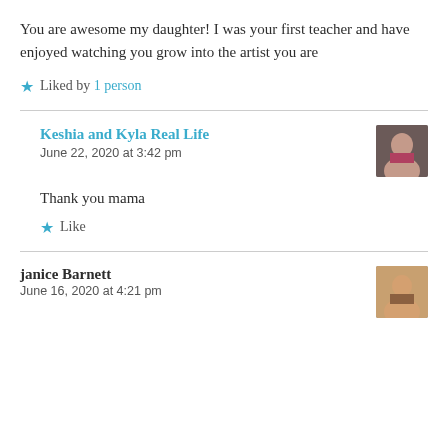You are awesome my daughter! I was your first teacher and have enjoyed watching you grow into the artist you are
★ Liked by 1 person
Keshia and Kyla Real Life
June 22, 2020 at 3:42 pm
Thank you mama
★ Like
janice Barnett
June 16, 2020 at 4:21 pm